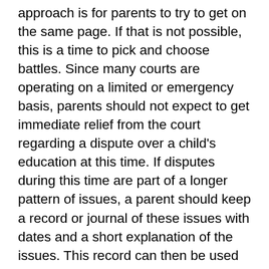approach is for parents to try to get on the same page. If that is not possible, this is a time to pick and choose battles. Since many courts are operating on a limited or emergency basis, parents should not expect to get immediate relief from the court regarding a dispute over a child's education at this time. If disputes during this time are part of a longer pattern of issues, a parent should keep a record or journal of these issues with dates and a short explanation of the issues. This record can then be used later if the need arises.
Overall, parents should try to be aware and understand that these are uncertain times for everyone. Uncertainty is often accompanied by anxiety and fear. Anxiety and fear can often lead